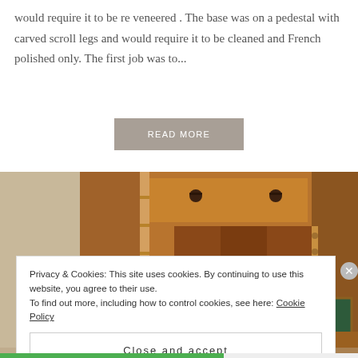would require it to be re veneered . The base was on a pedestal with carved scroll legs and would require it to be cleaned and French polished only. The first job was to...
READ MORE
[Figure (photo): Antique wooden bureau/secretary desk with drop-front writing surface covered in green leather, multiple small drawers and compartments visible inside, bamboo-style column details on sides, warm walnut/mahogany wood tones.]
Privacy & Cookies: This site uses cookies. By continuing to use this website, you agree to their use.
To find out more, including how to control cookies, see here: Cookie Policy
Close and accept